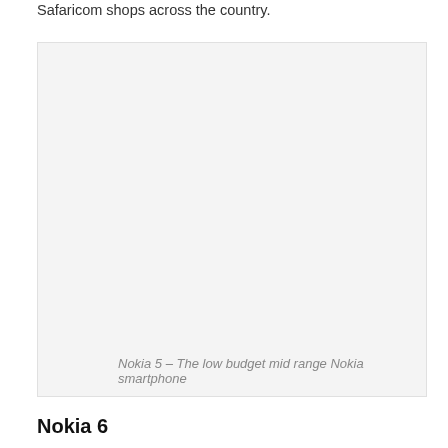Safaricom shops across the country.
[Figure (photo): Image placeholder for Nokia 5 smartphone photo with light gray background]
Nokia 5 – The low budget mid range Nokia smartphone
Nokia 6